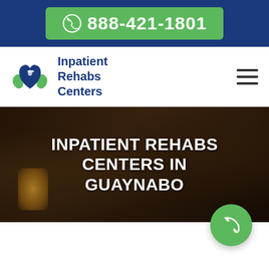888-421-1801
[Figure (logo): Inpatient Rehabs Centers logo with green hands holding a blue heart]
Inpatient Rehabs Centers
INPATIENT REHABS CENTERS IN GUAYNABO
[Figure (photo): Background photo of a person slumped over a table with a glass of alcohol]
[Figure (photo): Photo of a smiling female doctor in white coat with stethoscope]
[Figure (photo): Photo of a person with alcohol bottles, partially visible]